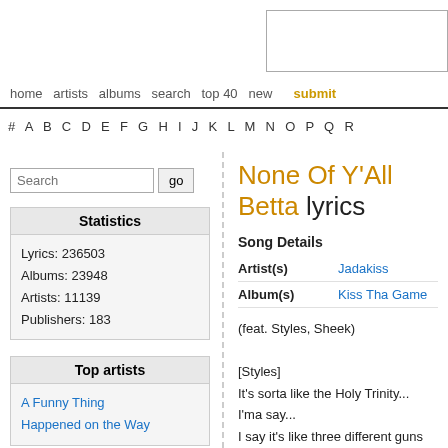home  artists  albums  search  top 40  new  submit
# A B C D E F G H I J K L M N O P Q R
None Of Y'All Betta lyrics
Song Details
| Field | Value |
| --- | --- |
| Artist(s) | Jadakiss |
| Album(s) | Kiss Tha Game |
Lyrics: 236503
Albums: 23948
Artists: 11139
Publishers: 183
(feat. Styles, Sheek)
[Styles]
It's sorta like the Holy Trinity...
I'ma say...
I say it's like three different guns you fuckin w
Get shot three different ways
Matter fact, make that six different ways
Gun in each hand bitch